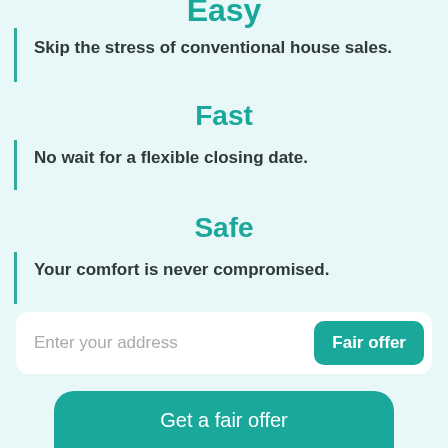Easy
Skip the stress of conventional house sales.
Fast
No wait for a flexible closing date.
Safe
Your comfort is never compromised.
Enter your address
Fair offer
Get a fair offer